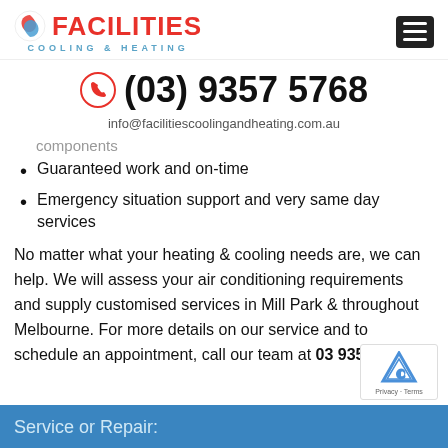[Figure (logo): Facilities Cooling & Heating logo with red swirl icon and hamburger menu button]
(03) 9357 5768
info@facilitiescoolingandheating.com.au
components
Guaranteed work and on-time
Emergency situation support and very same day services
No matter what your heating & cooling needs are, we can help. We will assess your air conditioning requirements and supply customised services in Mill Park & throughout Melbourne. For more details on our service and to schedule an appointment, call our team at 03 9357 5768!
Service or Repair: